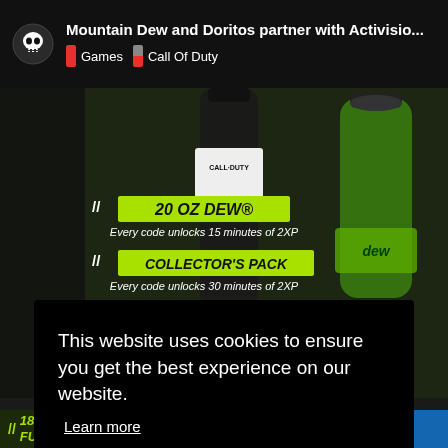Mountain Dew and Doritos partner with Activisio... | Games | Call Of Duty
[Figure (screenshot): Mountain Dew and Call of Duty promotional image showing bottles with text overlays: '20 OZ DEW® Every code unlocks 15 minutes of 2XP', 'COLLECTOR'S PACK Every code unlocks 30 minutes of 2XP', '12 PACK & ECOMMERCE 18 PACK Every code unlocks 60 minutes of 2XP']
This website uses cookies to ensure you get the best experience on our website.
Learn more
Got it!
[Figure (screenshot): Bottom strip showing partial text '18 OZ MTN DEW® AMP FUEL®' in yellow/green on dark background, and blue section on the right]